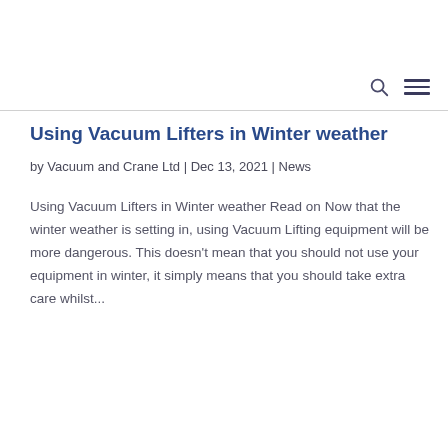Using Vacuum Lifters in Winter weather
by Vacuum and Crane Ltd | Dec 13, 2021 | News
Using Vacuum Lifters in Winter weather Read on Now that the winter weather is setting in, using Vacuum Lifting equipment will be more dangerous. This doesn't mean that you should not use your equipment in winter, it simply means that you should take extra care whilst...